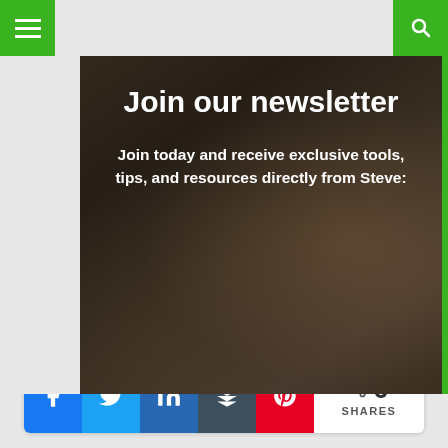[Figure (screenshot): Navigation bar with green hamburger menu on left and green search icon on right]
[Figure (photo): Hero image of hands typing on a laptop/tablet with dark overlay and newsletter signup text. Title: 'Join our newsletter'. Subtitle: 'Join today and receive exclusive tools, tips, and resources directly from Steve:']
Join our newsletter
Join today and receive exclusive tools, tips, and resources directly from Steve:
[Figure (infographic): Social share buttons: Facebook (blue), Twitter (light blue), LinkedIn (dark blue), Buffer (dark gray), Pinterest (red), followed by share count showing 0 SHARES]